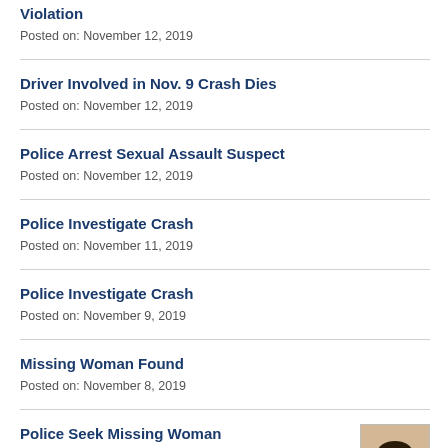Violation
Posted on: November 12, 2019
Driver Involved in Nov. 9 Crash Dies
Posted on: November 12, 2019
Police Arrest Sexual Assault Suspect
Posted on: November 12, 2019
Police Investigate Crash
Posted on: November 11, 2019
Police Investigate Crash
Posted on: November 9, 2019
Missing Woman Found
Posted on: November 8, 2019
Police Seek Missing Woman
Posted on: November 8, 2019
[Figure (photo): Photo of a woman, partially visible at bottom right corner of the page]